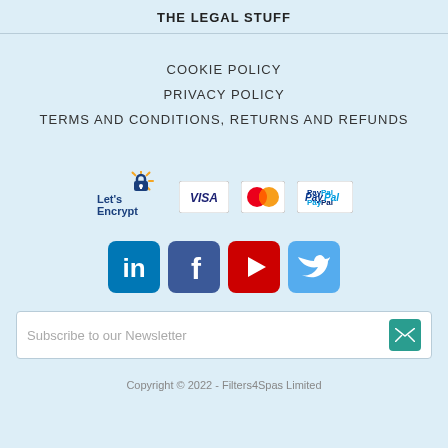THE LEGAL STUFF
COOKIE POLICY
PRIVACY POLICY
TERMS AND CONDITIONS, RETURNS AND REFUNDS
[Figure (logo): Let's Encrypt logo, Visa logo, Mastercard logo, PayPal logo]
[Figure (logo): LinkedIn, Facebook, YouTube, Twitter social media icons]
Subscribe to our Newsletter
Copyright © 2022 - Filters4Spas Limited